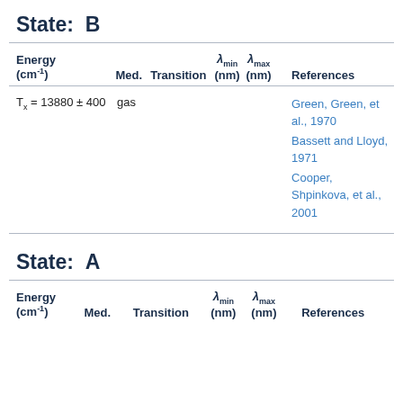State:  B
| Energy (cm⁻¹) | Med. | Transition | λmin (nm) | λmax (nm) | References |
| --- | --- | --- | --- | --- | --- |
| Tx = 13880 ± 400 | gas |  |  |  | Green, Green, et al., 1970
Bassett and Lloyd, 1971
Cooper, Shpinkova, et al., 2001 |
State:  A
| Energy (cm⁻¹) | Med. | Transition | λmin (nm) | λmax (nm) | References |
| --- | --- | --- | --- | --- | --- |